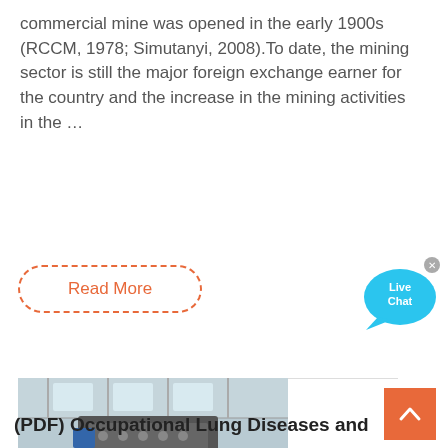commercial mine was opened in the early 1900s (RCCM, 1978; Simutanyi, 2008).To date, the mining sector is still the major foreign exchange earner for the country and the increase in the mining activities in the …
Read More
[Figure (photo): Industrial machine (crusher/mill equipment) in a large factory warehouse with workers in hard hats. AMC logo visible on the machine.]
(PDF) Occupational Lung Diseases and